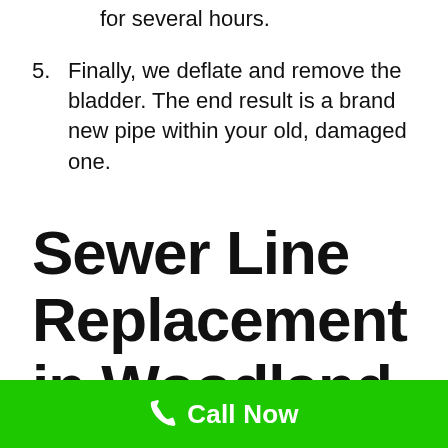for several hours.
5. Finally, we deflate and remove the bladder. The end result is a brand new pipe within your old, damaged one.
Sewer Line Replacement in Woodland Hill...
Call Now